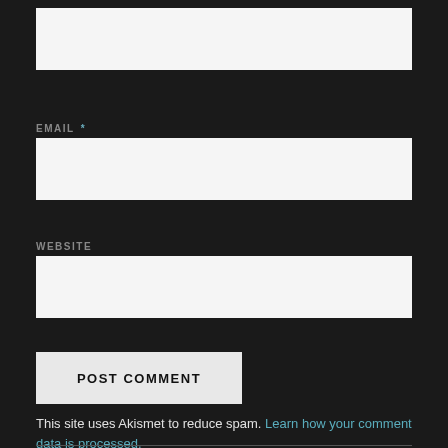[Figure (other): Text input field (top, partially visible)]
EMAIL *
[Figure (other): Email text input field]
WEBSITE
[Figure (other): Website text input field]
[Figure (other): POST COMMENT button]
This site uses Akismet to reduce spam. Learn how your comment data is processed.